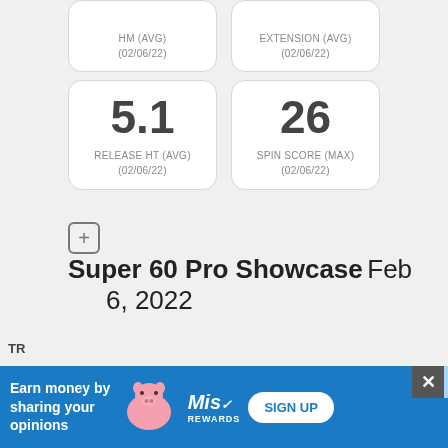HM (AVG) (02/06/22)
EXTENSION (AVG) (02/06/22)
5.1
RELEASE HT (AVG) (02/06/22)
26
SPIN SCORE (MAX) (02/06/22)
Super 60 Pro Showcase Feb 6, 2022
TR
Earn money by sharing your opinions
Mis Rewards
SIGN UP